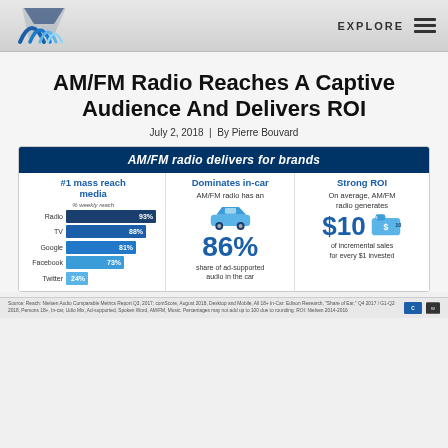EXPLORE
AM/FM Radio Reaches A Captive Audience And Delivers ROI
July 2, 2018  |  By Pierre Bouvard
[Figure (infographic): Infographic titled 'AM/FM radio delivers for brands' with three columns: (1) #1 mass reach media - bar chart showing % weekly reach: Radio 93%, TV 88%, Google 81%, Facebook 73%, Twitter 24%; (2) Dominates in-car - AM/FM radio has an 86% share of ad-supported audio in the car; (3) Strong ROI - On average, AM/FM radio generates $10 of incremental sales for every $1 invested]
Source: Reach: Nielsen Audio Comparable Metrics Report Q3, 2017; comScore, August 2018, Desktop and Mobile, All 18+ In-Car: Edison Research, "Share of Ear," Q4 2017 / G1-Q2 2018, Persons 18+, In-car, Udio Mix, Ad-supported, Spoken Word, AM/FM, Music. Percentages may not add up to 100 due to rounding. ROI: Nielsen 2014-2016